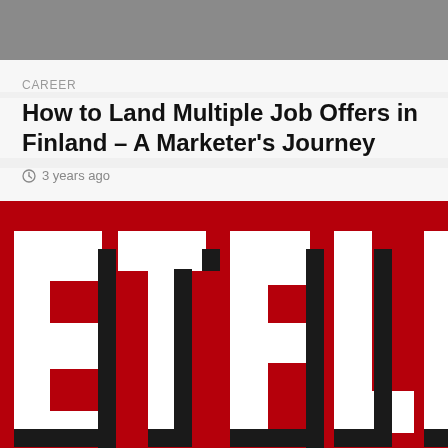CAREER
How to Land Multiple Job Offers in Finland – A Marketer's Journey
3 years ago
[Figure (logo): Netflix logo letters ETFLI visible on a dark red background with bold white letters and black shadow/depth effect, cropped view]